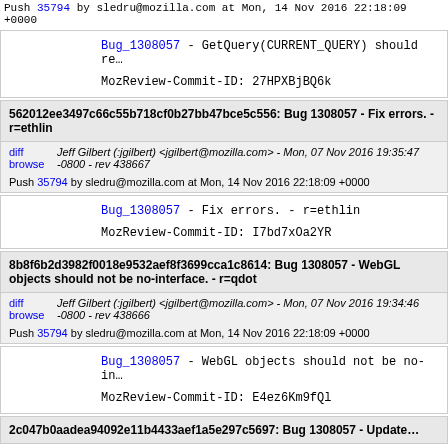Push 35794 by sledru@mozilla.com at Mon, 14 Nov 2016 22:18:09 +0000
Bug_1308057 - GetQuery(CURRENT_QUERY) should re...
MozReview-Commit-ID: 27HPXBjBQ6k
562012ee3497c66c55b718cf0b27bb47bce5c556: Bug 1308057 - Fix errors. - r=ethlin
diff browse
Jeff Gilbert (:jgilbert) <jgilbert@mozilla.com> - Mon, 07 Nov 2016 19:35:47 -0800 - rev 438667
Push 35794 by sledru@mozilla.com at Mon, 14 Nov 2016 22:18:09 +0000
Bug_1308057 - Fix errors. - r=ethlin
MozReview-Commit-ID: I7bd7xOa2YR
8b8f6b2d3982f0018e9532aef8f3699cca1c8614: Bug 1308057 - WebGL objects should not be no-interface. - r=qdot
diff browse
Jeff Gilbert (:jgilbert) <jgilbert@mozilla.com> - Mon, 07 Nov 2016 19:34:46 -0800 - rev 438666
Push 35794 by sledru@mozilla.com at Mon, 14 Nov 2016 22:18:09 +0000
Bug_1308057 - WebGL objects should not be no-in...
MozReview-Commit-ID: E4ez6Km9fQl
2c047b0aadea94092e11b4433aef1a5e297c5697: Bug 1308057 - Update...